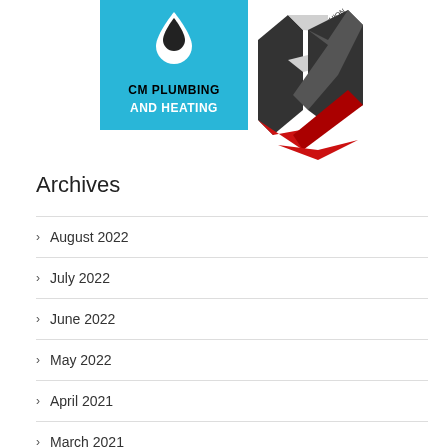[Figure (logo): CM Plumbing and Heating logo — blue background with water droplet icon, bold black and white text]
[Figure (logo): Fashion News .com FN geometric cube logo in black, red and white]
Archives
August 2022
July 2022
June 2022
May 2022
April 2021
March 2021